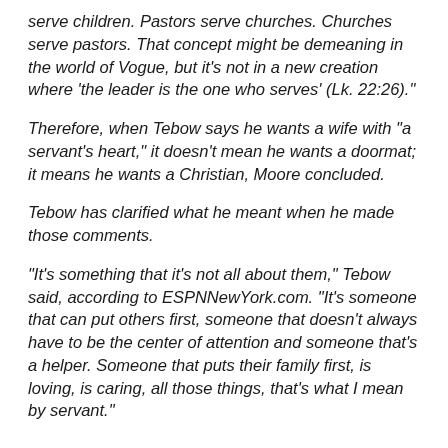serve children. Pastors serve churches. Churches serve pastors. That concept might be demeaning in the world of Vogue, but it's not in a new creation where 'the leader is the one who serves' (Lk. 22:26)."
Therefore, when Tebow says he wants a wife with "a servant's heart," it doesn't mean he wants a doormat; it means he wants a Christian, Moore concluded.
Tebow has clarified what he meant when he made those comments.
"It's something that it's not all about them," Tebow said, according to ESPNNewYork.com. "It's someone that can put others first, someone that doesn't always have to be the center of attention and someone that's a helper. Someone that puts their family first, is loving, is caring, all those things, that's what I mean by servant."